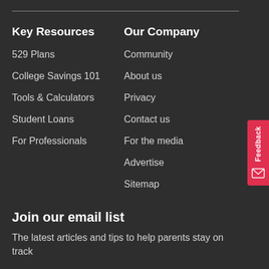Key Resources
529 Plans
College Savings 101
Tools & Calculators
Student Loans
For Professionals
Our Company
Community
About us
Privacy
Contact us
For the media
Advertise
Sitemap
Join our email list
The latest articles and tips to help parents stay on track